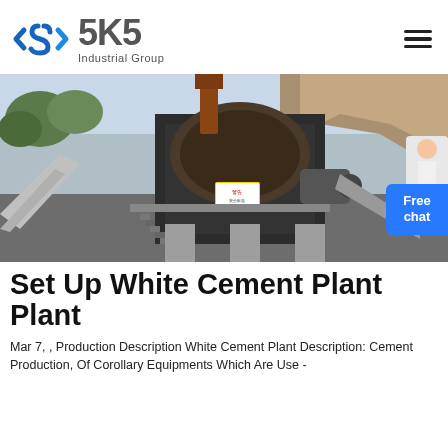[Figure (logo): SKS Industrial Group logo with blue diamond-S icon and gray text]
[Figure (photo): Industrial quarry with large crusher machine, conveyor belts, metal structure and rocky hillside in background]
Set Up White Cement Plant Plant
Mar 7, , Production Description White Cement Plant Description: Cement Production, Of Corollary Equipments Which Are Use -